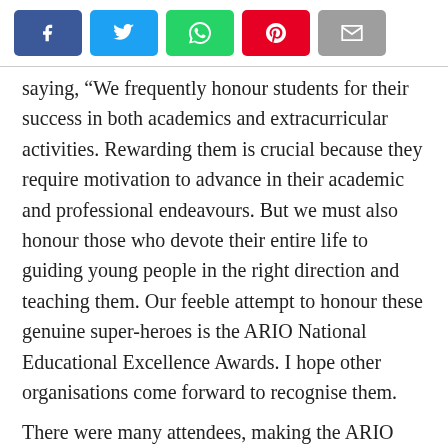[Figure (other): Social media share buttons: Facebook (blue), Twitter (cyan), WhatsApp (green), Pinterest (red), Email (grey)]
saying, “We frequently honour students for their success in both academics and extracurricular activities. Rewarding them is crucial because they require motivation to advance in their academic and professional endeavours. But we must also honour those who devote their entire life to guiding young people in the right direction and teaching them. Our feeble attempt to honour these genuine super-heroes is the ARIO National Educational Excellence Awards. I hope other organisations come forward to recognise them.
There were many attendees, making the ARIO National Educational Excellence Awards 2022 a resounding success. The ARIO Group of